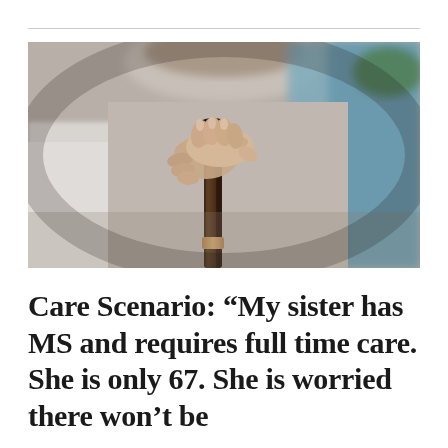[Figure (photo): Close-up photograph of elderly person's hands resting on top of a dark wooden walking cane, wearing a white shirt. Blurred background with soft blue tones.]
Care Scenario: “My sister has MS and requires full time care. She is only 67. She is worried there won’t be